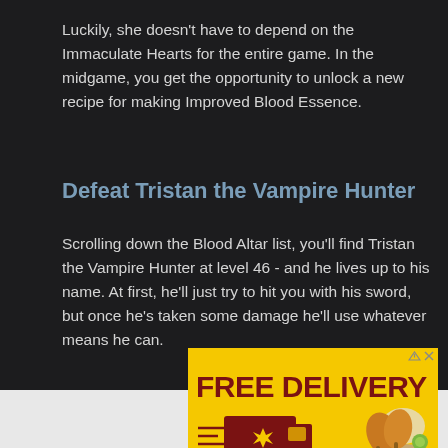Luckily, she doesn't have to depend on the Immaculate Hearts for the entire game. In the midgame, you get the opportunity to unlock a new recipe for making Improved Blood Essence.
Defeat Tristan the Vampire Hunter
Scrolling down the Blood Altar list, you'll find Tristan the Vampire Hunter at level 46 - and he lives up to his name. At first, he'll just try to hit you with his sword, but once he's taken some damage he'll use whatever means he can.
[Figure (infographic): Advertisement banner with yellow background showing 'FREE DELIVERY' text, a delivery truck graphic, food (fried chicken) image, 'GET YOUR FLAVOR DELIVERED!' text, an 'Order Now' button, and fine print 'Valid only at participating locations.']